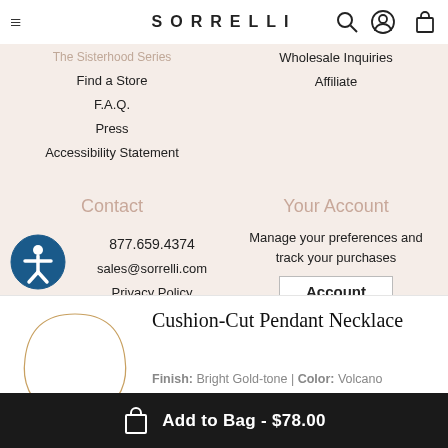SORRELLI navigation header with hamburger menu, logo, search, account, and bag icons
Sustainability
Returns
The B... (partially visible)
Careers
The Sisterhood Series
Wholesale Inquiries
Find a Store
Affiliate
F.A.Q.
Press
Accessibility Statement
Contact
Your Account
877.659.4374
sales@sorrelli.com
Privacy Policy
Shipping Polic... (partially visible)
Manage your preferences and track your purchases
Account
Cushion-Cut Pendant Necklace
Finish: Bright Gold-tone | Color: Volcano
Add to Bag - $78.00